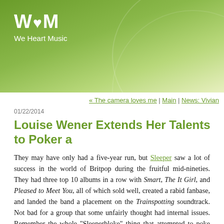W♥M — We Heart Music
« The camera loves me | Main | News: Vivian
01/22/2014
Louise Wener Extends Her Talents to Poker a
They may have only had a five-year run, but Sleeper saw a lot of success in the world of Britpop during the fruitful mid-nineties. They had three top 10 albums in a row with Smart, The It Girl, and Pleased to Meet You, all of which sold well, created a rabid fanbase, and landed the band a placement on the Trainspotting soundtrack. Not bad for a group that some unfairly thought had internal issues. Remember the whole "Sleeperbloke" thing that attempted to poke fun at frontwoman Louise Wener and her perceived hogging of the spotlight? She then responded with her now-trademark tee, "Just Another Girl Fronted Band," while her cohorts had a good laugh about it. Sigh, weren't those the days?